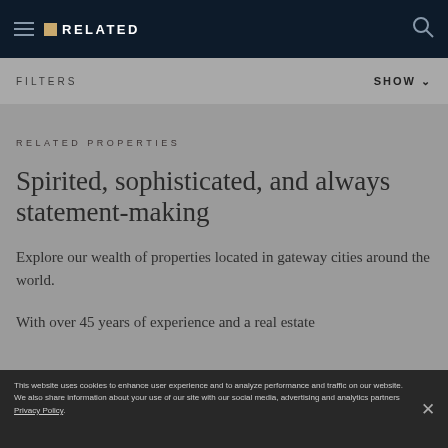RELATED
FILTERS
SHOW
RELATED PROPERTIES
Spirited, sophisticated, and always statement-making
Explore our wealth of properties located in gateway cities around the world.
With over 45 years of experience and a real estate
This website uses cookies to enhance user experience and to analyze performance and traffic on our website. We also share information about your use of our site with our social media, advertising and analytics partners Privacy Policy.